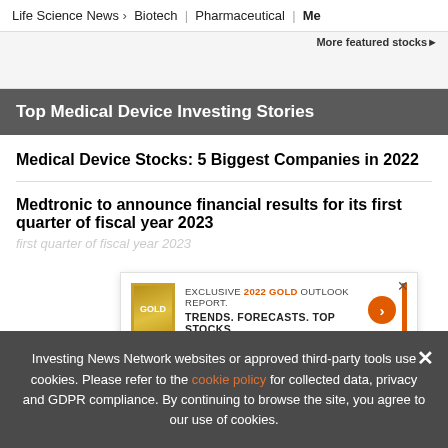Life Science News > Biotech | Pharmaceutical | Me
More featured stocks▶
Top Medical Device Investing Stories
Medical Device Stocks: 5 Biggest Companies in 2022
Medtronic to announce financial results for its first quarter of fiscal year 2023
[Figure (infographic): Ad overlay: EXCLUSIVE 2022 GOLD OUTLOOK REPORT. TRENDS. FORECASTS. TOP STOCKS with gold book image and orange arrow button]
Baus...
Investing News Network websites or approved third-party tools use cookies. Please refer to the cookie policy for collected data, privacy and GDPR compliance. By continuing to browse the site, you agree to our use of cookies.